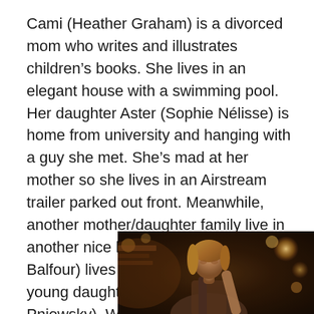Cami (Heather Graham) is a divorced mom who writes and illustrates children's books. She lives in an elegant house with a swimming pool. Her daughter Aster (Sophie Nélisse) is home from university and hanging with a guy she met. She's mad at her mother so she lives in an Airstream trailer parked out front. Meanwhile, another mother/daughter family live in another nice house. Rachel (Jodi Balfour) lives with her husband and young daughter Talulah (Abigail Pniowsky). What do they have in common? Rachel had an affair with Cami's husband 10 years back, and now she's married to him. But when he suddenly dies, the two moms – and their daughters – are brought together, against
[Figure (photo): A dark, warm-toned cinematic still from a film showing a young woman with blonde hair in a dimly lit scene with warm bokeh lights in the background]